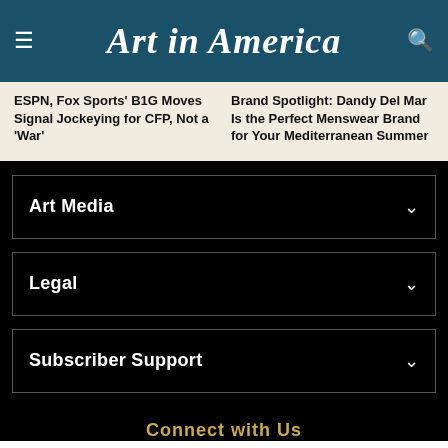Art in America
ESPN, Fox Sports' B1G Moves Signal Jockeying for CFP, Not a 'War'
Brand Spotlight: Dandy Del Mar Is the Perfect Menswear Brand for Your Mediterranean Summer
Art Media
Legal
Subscriber Support
Connect with Us